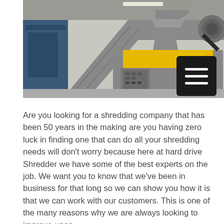[Figure (photo): Industrial shredding machine in a warehouse setting. The machinery is primarily gray-painted steel with a yellow accent panel and motor. A control panel with buttons/knobs is visible in the foreground. Blue machinery is seen to the left.]
Are you looking for a shredding company that has been 50 years in the making are you having zero luck in finding one that can do all your shredding needs will don't worry because here at hard drive Shredder we have some of the best experts on the job. We want you to know that we've been in business for that long so we can show you how it is that we can work with our customers. This is one of the many reasons why we are always looking to improve upon